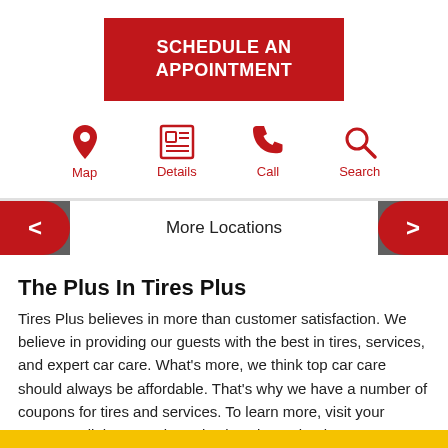SCHEDULE AN APPOINTMENT
[Figure (infographic): Navigation icons: Map (location pin), Details (newspaper/document), Call (phone handset), Search (magnifying glass) — all in red]
More Locations
The Plus In Tires Plus
Tires Plus believes in more than customer satisfaction. We believe in providing our guests with the best in tires, services, and expert car care. What's more, we think top car care should always be affordable. That's why we have a number of coupons for tires and services. To learn more, visit your nearest Tallahassee Tires Plus location or book your next appointment today!